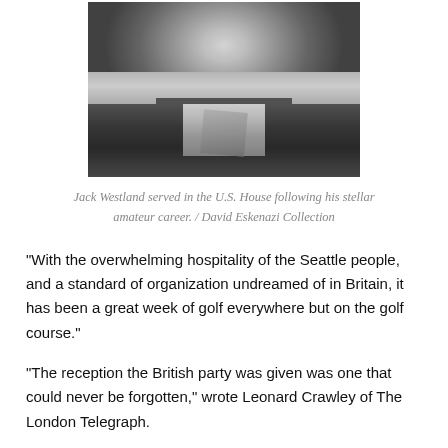[Figure (photo): Black and white photograph of Jack Westland, a man in a suit and tie, smiling, cropped to show head and upper torso.]
Jack Westland served in the U.S. House following his stellar amateur career. / David Eskenazi Collection
“With the overwhelming hospitality of the Seattle people, and a standard of organization undreamed of in Britain, it has been a great week of golf everywhere but on the golf course.”
“The reception the British party was given was one that could never be forgotten,” wrote Leonard Crawley of The London Telegraph.